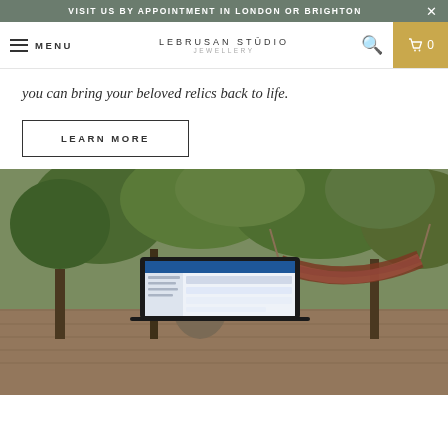VISIT US BY APPOINTMENT IN LONDON OR BRIGHTON
MENU | LEBRUSAN STUDIO JEWELLERY | 0
you can bring your beloved relics back to life.
LEARN MORE
[Figure (photo): Outdoor scene with a laptop open on a table showing an email client, surrounded by tropical garden with hammock, stone sculpture, lush green trees and brick patio in background.]